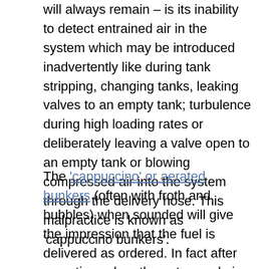will always remain – is its inability to detect entrained air in the system which may be introduced inadvertently like during tank stripping, changing tanks, leaking valves to an empty tank; turbulence during high loading rates or deliberately leaving a valve open to an empty tank or blowing compressed air into the system through the delivery hose. This malpractice is known as 'cappuccino bunkers'.
The 'cappuccino' or aerated bunkers (often with froth and bubbles) when sounded will give the impression that the fuel is delivered as ordered. In fact after sometime when the entrapped air in suspension settles out of the fuel oil the fuel level drops and a short fall is discovered. In other words